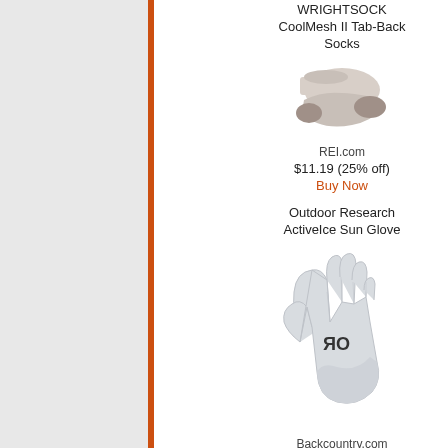WRIGHTSOCK CoolMesh II Tab-Back Socks
[Figure (photo): Photo of a light grey/beige low-cut athletic sock with grey heel and toe]
REI.com
$11.19 (25% off)
Buy Now
Outdoor Research ActiveIce Sun Glove
[Figure (photo): Photo of a light grey fingerless sun glove with OR logo on the back of the hand]
Backcountry.com
$18.71 (25% off)
Buy Now